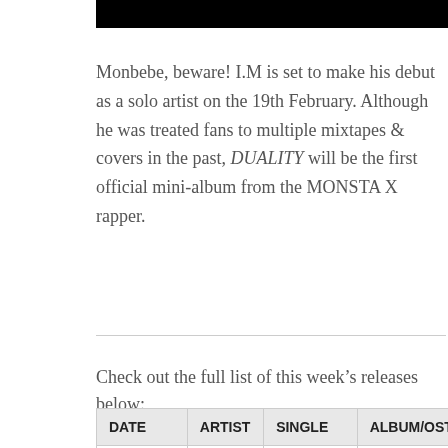[Figure (other): Black rectangle bar at top of page]
Monbebe, beware! I.M is set to make his debut as a solo artist on the 19th February. Although he was treated fans to multiple mixtapes & covers in the past, DUALITY will be the first official mini-album from the MONSTA X rapper.
Check out the full list of this week's releases below:
| DATE | ARTIST | SINGLE | ALBUM/OST |
| --- | --- | --- | --- |
| 7th February | Swan | Space | Space |
|  | Onestar | Like a star | Mr. Queen |